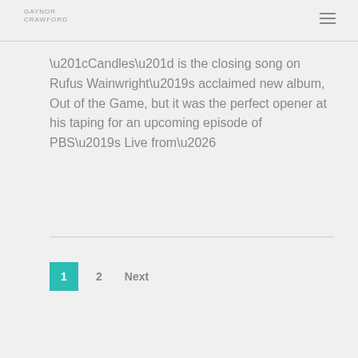GAYNOR CRAWFORD
“Candles” is the closing song on Rufus Wainwright’s acclaimed new album, Out of the Game, but it was the perfect opener at his taping for an upcoming episode of PBS’s Live from…
Read More
1  2  Next